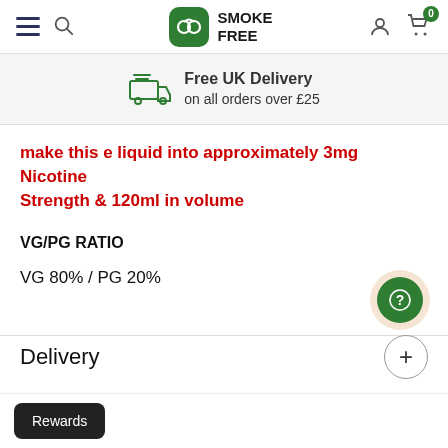Smoke Free — navigation bar with hamburger, search, logo, account, cart (0)
Free UK Delivery on all orders over £25
make this e liquid into approximately 3mg Nicotine Strength & 120ml in volume
VG/PG RATIO
VG 80% / PG 20%
Delivery
Rewards